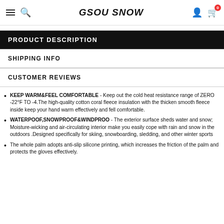GSOU SNOW
PRODUCT DESCRIPTION
SHIPPING INFO
CUSTOMER REVIEWS
KEEP WARM&FEEL COMFORTABLE - Keep out the cold heat resistance range of ZERO -22°F TO -4.The high-quality cotton coral fleece insulation with the thicken smooth fleece inside keep your hand warm effectively and fell comfortable.
WATERPOOF,SNOWPROOF&WINDPROO - The exterior surface sheds water and snow; Moisture-wicking and air-circulating interior make you easily cope with rain and snow in the outdoors .Designed specifically for skiing, snowboarding, sledding, and other winter sports
The whole palm adopts anti-slip silicone printing, which increases the friction of the palm and protects the gloves effectively.